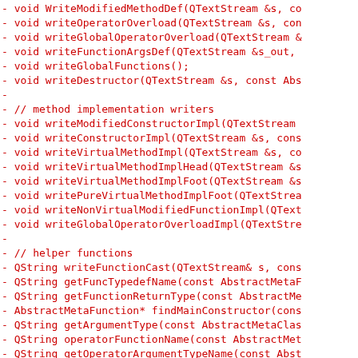-      void WriteModifiedMethodDef(QTextStream &s, co
-      void writeOperatorOverload(QTextStream &s, con
-      void writeGlobalOperatorOverload(QTextStream &
-      void writeFunctionArgsDef(QTextStream &s_out,
-      void writeGlobalFunctions();
-      void writeDestructor(QTextStream &s, const Abs
-
-      // method implementation writers
-      void writeModifiedConstructorImpl(QTextStream
-      void writeConstructorImpl(QTextStream &s, cons
-      void writeVirtualMethodImpl(QTextStream &s, co
-      void writeVirtualMethodImplHead(QTextStream &s
-      void writeVirtualMethodImplFoot(QTextStream &s
-      void writePureVirtualMethodImplFoot(QTextStrea
-      void writeNonVirtualModifiedFunctionImpl(QText
-      void writeGlobalOperatorOverloadImpl(QTextStre
-
-      // helper functions
-      QString writeFunctionCast(QTextStream& s, cons
-      QString getFuncTypedefName(const AbstractMetaF
-      QString getFunctionReturnType(const AbstractMe
-      AbstractMetaFunction* findMainConstructor(cons
-      QString getArgumentType(const AbstractMetaClas
-      QString operatorFunctionName(const AbstractMet
-      QString getOperatorArgumentTypeName(const Abst
-
-      // Field access related
-      void writeSetterFieldFunction(QTextStream &s,
-      void writeGetterFieldFunction(QTextStream &s,
-      void writeFieldAccess(QTextStream &s, const Ab